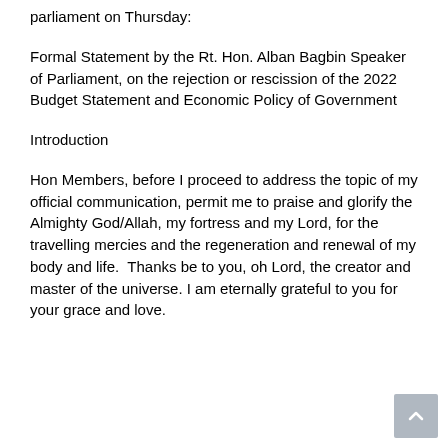parliament on Thursday:
Formal Statement by the Rt. Hon. Alban Bagbin Speaker of Parliament, on the rejection or rescission of the 2022 Budget Statement and Economic Policy of Government
Introduction
Hon Members, before I proceed to address the topic of my official communication, permit me to praise and glorify the Almighty God/Allah, my fortress and my Lord, for the travelling mercies and the regeneration and renewal of my body and life.  Thanks be to you, oh Lord, the creator and master of the universe. I am eternally grateful to you for your grace and love.